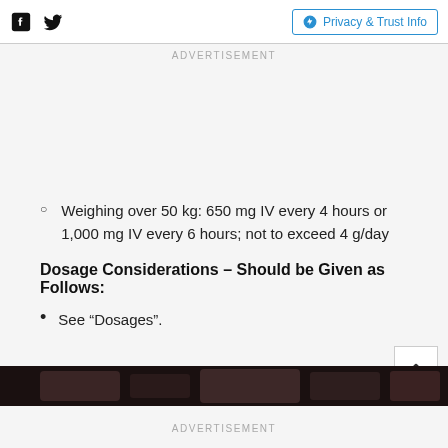Facebook | Twitter | Privacy & Trust Info
ADVERTISEMENT
Weighing over 50 kg: 650 mg IV every 4 hours or 1,000 mg IV every 6 hours; not to exceed 4 g/day
Dosage Considerations – Should be Given as Follows:
See “Dosages”.
ADVERTISEMENT